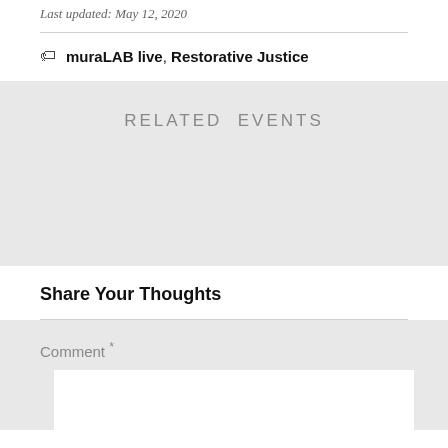Last updated: May 12, 2020
muraLAB live, Restorative Justice
RELATED EVENTS
Share Your Thoughts
Comment *